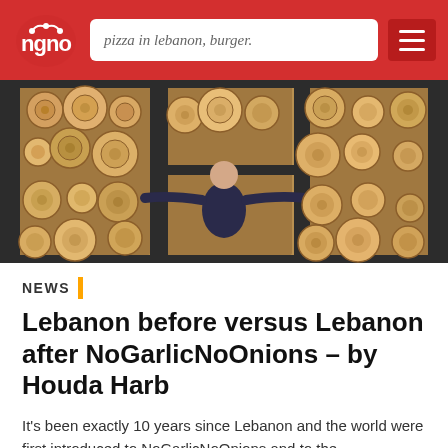ngno — pizza in lebanon, burger. [hamburger menu]
[Figure (photo): A man standing with arms spread wide in front of a large wall of stacked firewood logs, arranged in three sections separated by dark metal frames. The logs show cross-sections of various sizes.]
NEWS
Lebanon before versus Lebanon after NoGarlicNoOnions – by Houda Harb
It's been exactly 10 years since Lebanon and the world were first introduced to NoGarlicNoOnions and to the unconventional man behind this unconventional brand, Mr. Anthony Rahayel. I'm...